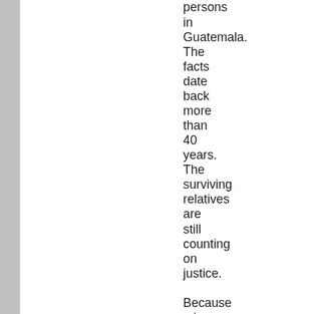persons in Guatemala. The facts date back more than 40 years. The surviving relatives are still counting on justice. Because crimes against